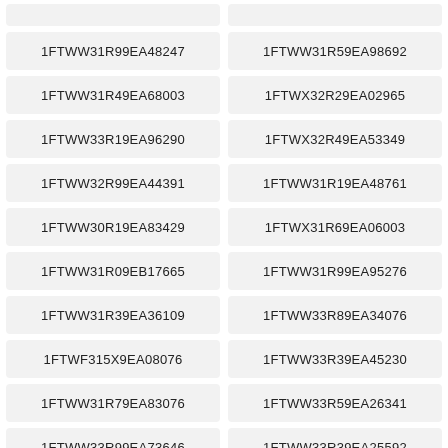1FTWW31R99EA48247
1FTWW31R59EA98692
1FTWW31R49EA68003
1FTWX32R29EA02965
1FTWW33R19EA96290
1FTWX32R49EA53349
1FTWW32R99EA44391
1FTWW31R19EA48761
1FTWW30R19EA83429
1FTWX31R69EA06003
1FTWW31R09EB17665
1FTWW31R99EA95276
1FTWW31R39EA36109
1FTWW33R89EA34076
1FTWF315X9EA08076
1FTWW33R39EA45230
1FTWW31R79EA83076
1FTWW33R59EA26341
1FTWW33R99EA73646
1FTWW33R39EA25592